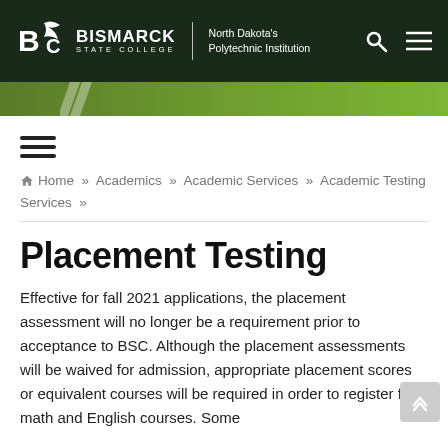[Figure (logo): Bismarck State College logo with BSC letters and text: BISMARCK STATE COLLEGE | North Dakota's Polytechnic Institution, with search and menu icons on dark green header]
[Figure (illustration): Green accent bar with diagonal white stripes]
≡ (hamburger menu icon)
🏠 Home » Academics » Academic Services » Academic Testing Services »
Placement Testing
Effective for fall 2021 applications, the placement assessment will no longer be a requirement prior to acceptance to BSC. Although the placement assessments will be waived for admission, appropriate placement scores or equivalent courses will be required in order to register for math and English courses. Some